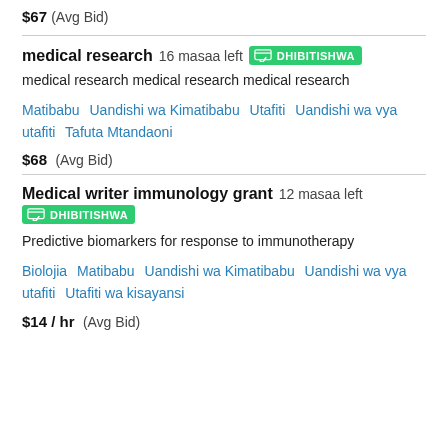$67 (Avg Bid)
medical research  16 masaa left  DHIBITISHWA
medical research medical research medical research
Matibabu  Uandishi wa Kimatibabu  Utafiti  Uandishi wa vya utafiti  Tafuta Mtandaoni
$68  (Avg Bid)
Medical writer immunology grant  12 masaa left  DHIBITISHWA
Predictive biomarkers for response to immunotherapy
Biolojia  Matibabu  Uandishi wa Kimatibabu  Uandishi wa vya utafiti  Utafiti wa kisayansi
$14 / hr  (Avg Bid)